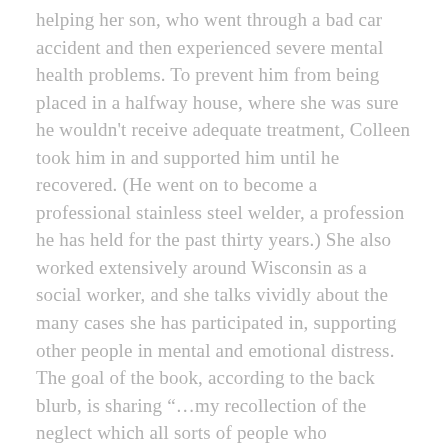helping her son, who went through a bad car accident and then experienced severe mental health problems. To prevent him from being placed in a halfway house, where she was sure he wouldn't receive adequate treatment, Colleen took him in and supported him until he recovered. (He went on to become a professional stainless steel welder, a profession he has held for the past thirty years.) She also worked extensively around Wisconsin as a social worker, and she talks vividly about the many cases she has participated in, supporting other people in mental and emotional distress. The goal of the book, according to the back blurb, is sharing "...my recollection of the neglect which all sorts of people who experience forms of mental illness face and the work I've done to combat this horrifically bad treatment, for myself, my family, and for clients I worked with at a state agency."